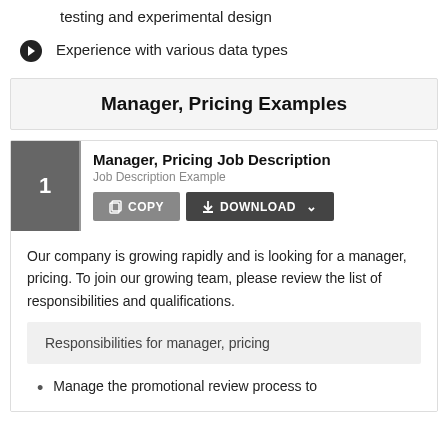testing and experimental design
Experience with various data types
Manager, Pricing Examples
Manager, Pricing Job Description
Job Description Example
Our company is growing rapidly and is looking for a manager, pricing. To join our growing team, please review the list of responsibilities and qualifications.
Responsibilities for manager, pricing
Manage the promotional review process to